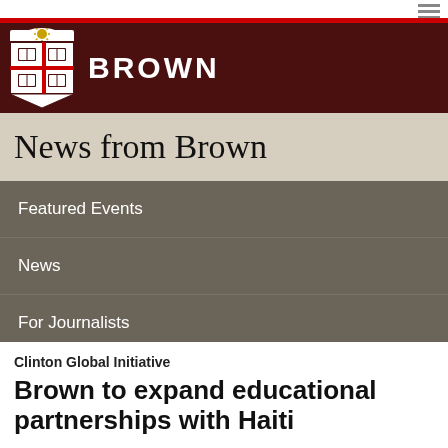[Figure (logo): Brown University shield logo and BROWN wordmark on dark maroon header background]
News from Brown
Featured Events
News
For Journalists
Featured Events
Clinton Global Initiative
Brown to expand educational partnerships with Haiti